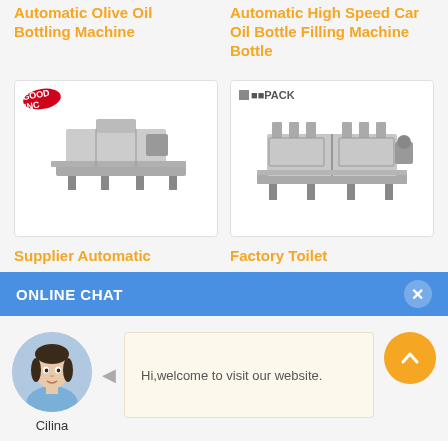Automatic Olive Oil Bottling Machine
Automatic High Speed Car Oil Bottle Filling Machine Bottle
[Figure (photo): Photo of an automatic olive oil bottling machine, with a red badge logo in top-left corner]
[Figure (photo): Photo of an automatic high speed car oil bottle filling machine, with PACK logo in top-left corner]
Supplier Automatic
Factory Toilet
ONLINE CHAT
[Figure (photo): Avatar photo of a young woman named Cilina, customer service representative]
Cilina
Hi,welcome to visit our website.